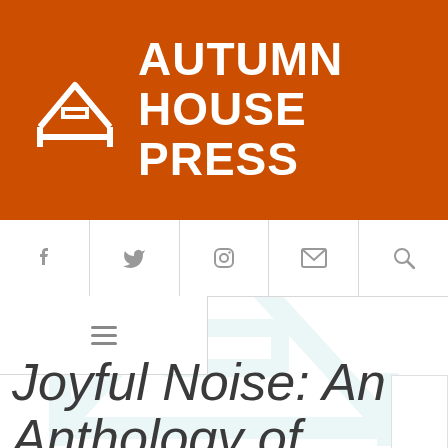[Figure (logo): Autumn House Press logo: white house/A icon with text AUTUMN HOUSE PRESS on orange/brown background]
[Figure (infographic): Navigation icon bar with Facebook, Twitter, Instagram, Email, and Search icons in a horizontal row with dividers]
[Figure (infographic): Hamburger menu icon in a bordered box on the left side below the nav bar]
[Figure (illustration): Light teal/grey watermark of the Autumn House Press house logo in background]
Joyful Noise: An Anthology of American Spiritual